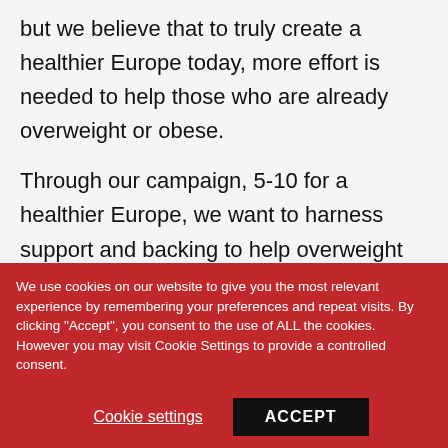but we believe that to truly create a healthier Europe today, more effort is needed to help those who are already overweight or obese.
Through our campaign, 5-10 for a healthier Europe, we want to harness support and backing to help overweight and obese citizens lose 5-10% of their overall body weight, collectively improving the health of our nations and enriching the lives of
We use cookies on our website to give you the most relevant experience by remembering your preferences and repeat visits. By clicking "Accept", you consent to the use of ALL the cookies. However you may visit Cookie Settings to provide a controlled consent.
Cookie settings
ACCEPT